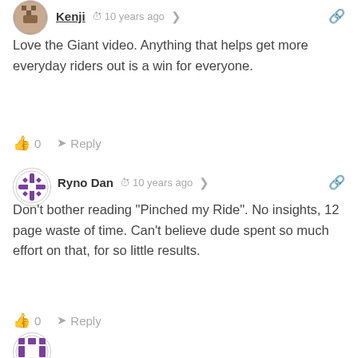[Figure (illustration): User avatar for Kenji - pixelated brown/gray figure]
Kenji  10 years ago
Love the Giant video. Anything that helps get more everyday riders out is a win for everyone.
👍 0   Reply
[Figure (illustration): User avatar for Ryno Dan - purple and white geometric snowflake pattern]
Ryno Dan  10 years ago
Don't bother reading "Pinched my Ride". No insights, 12 page waste of time. Can't believe dude spent so much effort on that, for so little results.
👍 0   Reply
[Figure (illustration): User avatar at bottom - purple and white geometric pattern, partially visible]
[Figure (illustration): Dark mode toggle button in bottom right corner]